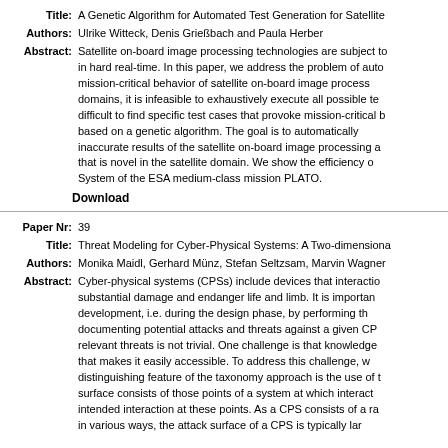Title: A Genetic Algorithm for Automated Test Generation for Satellite
Authors: Ulrike Witteck, Denis Grießbach and Paula Herber
Abstract: Satellite on-board image processing technologies are subject to in hard real-time. In this paper, we address the problem of auto mission-critical behavior of satellite on-board image process domains, it is infeasible to exhaustively execute all possible te difficult to find specific test cases that provoke mission-critical b based on a genetic algorithm. The goal is to automatically inaccurate results of the satellite on-board image processing a that is novel in the satellite domain. We show the efficiency o System of the ESA medium-class mission PLATO.
Download
Paper Nr: 39
Title: Threat Modeling for Cyber-Physical Systems: A Two-dimensiona
Authors: Monika Maidl, Gerhard Münz, Stefan Seltzsam, Marvin Wagner
Abstract: Cyber-physical systems (CPSs) include devices that interactio substantial damage and endanger life and limb. It is importan development, i.e. during the design phase, by performing th documenting potential attacks and threats against a given CP relevant threats is not trivial. One challenge is that knowledge that makes it easily accessible. To address this challenge, w distinguishing feature of the taxonomy approach is the use of t surface consists of those points of a system at which interact intended interaction at these points. As a CPS consists of a ra in various ways, the attack surface of a CPS is typically lar